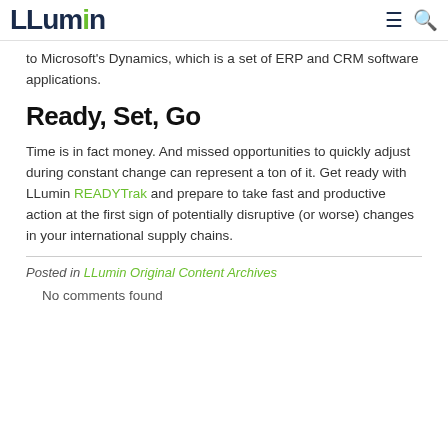LLumin
to Microsoft's Dynamics, which is a set of ERP and CRM software applications.
Ready, Set, Go
Time is in fact money. And missed opportunities to quickly adjust during constant change can represent a ton of it. Get ready with LLumin READYTrak and prepare to take fast and productive action at the first sign of potentially disruptive (or worse) changes in your international supply chains.
Posted in LLumin Original Content Archives
No comments found